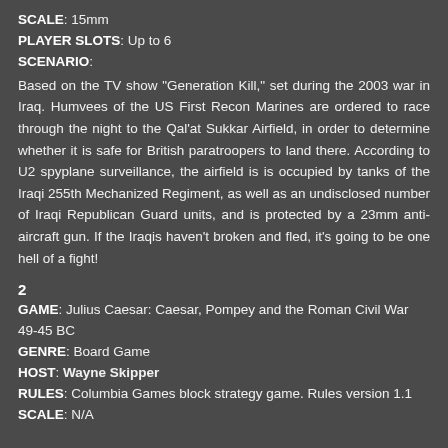SCALE: 15mm
PLAYER SLOTS: Up to 6
SCENARIO:
Based on the TV show "Generation Kill," set during the 2003 war in Iraq. Humvees of the US First Recon Marines are ordered to race through the night to the Qal'at Sukkar Airfield, in order to determine whether it is safe for British paratroopers to land there. According to U2 spyplane surveillance, the airfield is is occupied by tanks of the Iraqi 255th Mechanized Regiment, as well as an undisclosed number of Iraqi Republican Guard units, and is protected by a 23mm anti-aircraft gun. If the Iraqis haven't broken and fled, it's going to be one hell of a fight!
2
GAME: Julius Caesar: Caesar, Pompey and the Roman Civil War 49-45 BC
GENRE: Board Game
HOST: Wayne Skipper
RULES: Columbia Games block strategy game. Rules version 1.1
SCALE: N/A